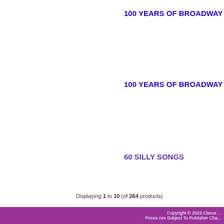100 YEARS OF BROADWAY (SA…
100 YEARS OF BROADWAY (SA…
60 SILLY SONGS
Displaying 1 to 10 (of 264 products)
Home   Contact
Copyright © 2022 Clarus … Prices Are Subject To Publisher Cha…